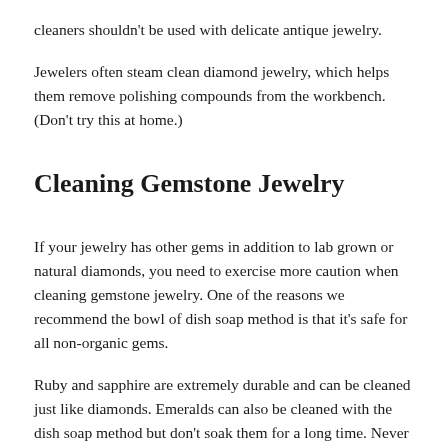cleaners shouldn't be used with delicate antique jewelry.
Jewelers often steam clean diamond jewelry, which helps them remove polishing compounds from the workbench. (Don't try this at home.)
Cleaning Gemstone Jewelry
If your jewelry has other gems in addition to lab grown or natural diamonds, you need to exercise more caution when cleaning gemstone jewelry. One of the reasons we recommend the bowl of dish soap method is that it's safe for all non-organic gems.
Ruby and sapphire are extremely durable and can be cleaned just like diamonds. Emeralds can also be cleaned with the dish soap method but don't soak them for a long time. Never put emerald jewelry in an ultrasonic cleaner.